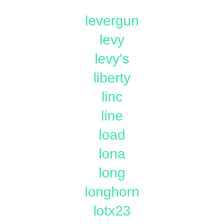levergun
levy
levy's
liberty
linc
line
load
lona
long
longhorn
lotx23
m-1907